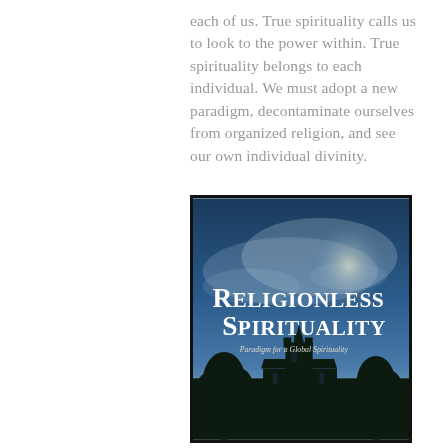each of us. True spirituality calls us to look to the power within. True spirituality belongs to each individual. We must adopt a new paradigm, decontaminate ourselves from organized religion, and see our own individual divinity.
[Figure (illustration): Book cover of 'Religionless Spirituality: Paradigm for a Global Spirituality'. Blue-toned cover with large white serif title text and a silhouette of a church building with trees against a dramatic sky.]